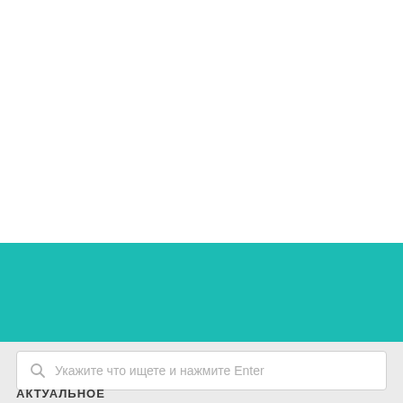[Figure (screenshot): White blank top section of a webpage]
[Figure (screenshot): Teal/turquoise colored horizontal banner section]
[Figure (screenshot): Light gray section with a search input box containing placeholder text and a search icon, and partial text 'АКТУАЛЬНОЕ' at the bottom]
Укажите что ищете и нажмите Enter
АКТУАЛЬНОЕ